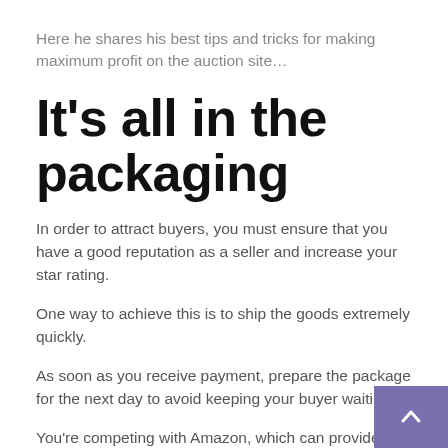Here he shares his best tips and tricks for making maximum profit on the auction site…
It's all in the packaging
In order to attract buyers, you must ensure that you have a good reputation as a seller and increase your star rating.
One way to achieve this is to ship the goods extremely quickly.
As soon as you receive payment, prepare the package for the next day to avoid keeping your buyer waiting.
You're competing with Amazon, which can provide next-day delivery, so if you're quick, you're more likely to attract repeat customers.